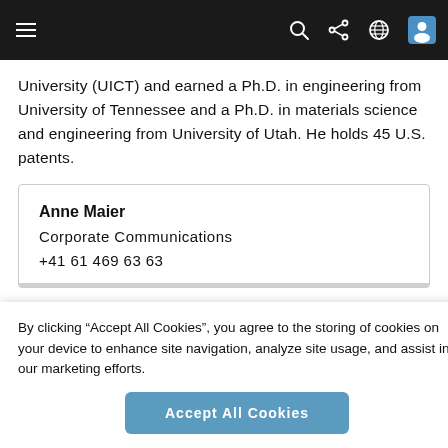Navigation bar with hamburger menu, search, share, globe and user icons
University (UICT) and earned a Ph.D. in engineering from University of Tennessee and a Ph.D. in materials science and engineering from University of Utah. He holds 45 U.S. patents.
Anne Maier
Corporate Communications
+41 61 469 63 63
By clicking “Accept All Cookies”, you agree to the storing of cookies on your device to enhance site navigation, analyze site usage, and assist in our marketing efforts.
Accept All Cookies